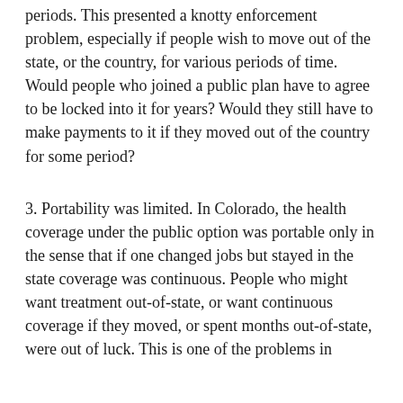periods. This presented a knotty enforcement problem, especially if people wish to move out of the state, or the country, for various periods of time. Would people who joined a public plan have to agree to be locked into it for years? Would they still have to make payments to it if they moved out of the country for some period?
3. Portability was limited. In Colorado, the health coverage under the public option was portable only in the sense that if one changed jobs but stayed in the state coverage was continuous. People who might want treatment out-of-state, or want continuous coverage if they moved, or spent months out-of-state, were out of luck. This is one of the problems in